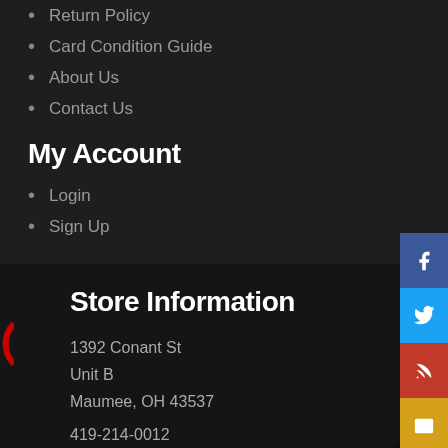Return Policy
Card Condition Guide
About Us
Contact Us
My Account
Login
Sign Up
Store Information
1392 Conant St
Unit B
Maumee, OH 43537
419-214-0012